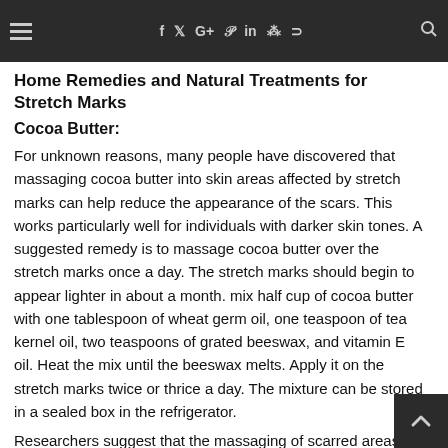disorders can cause stretch marks by increasing the amount of cortisone in your body
Home Remedies and Natural Treatments for Stretch Marks
Cocoa Butter:
For unknown reasons, many people have discovered that massaging cocoa butter into skin areas affected by stretch marks can help reduce the appearance of the scars. This works particularly well for individuals with darker skin tones. A suggested remedy is to massage cocoa butter over the stretch marks once a day. The stretch marks should begin to appear lighter in about a month. mix half cup of cocoa butter with one tablespoon of wheat germ oil, one teaspoon of tea kernel oil, two teaspoons of grated beeswax, and vitamin E oil. Heat the mix until the beeswax melts. Apply it on the stretch marks twice or thrice a day. The mixture can be stored in a sealed box in the refrigerator.
Researchers suggest that the massaging of scarred areas help stimulate blood flow and distributes collagen even